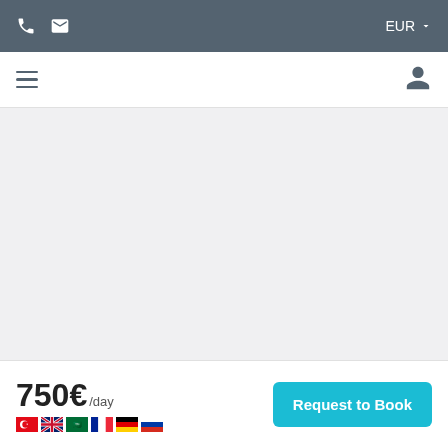EUR ▾
[Figure (screenshot): Website navigation bar with hamburger menu and user icon]
[Figure (screenshot): Main content area placeholder (light gray background)]
750€/day
[Figure (illustration): Row of country flags: Turkish, UK, Saudi Arabia, French, German, Russian]
Request to Book